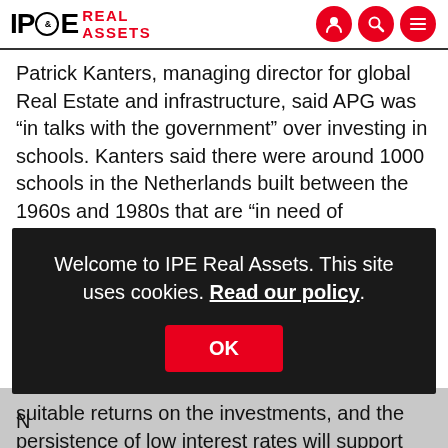IPE Real Assets
Patrick Kanters, managing director for global Real Estate and infrastructure, said APG was “in talks with the government” over investing in schools. Kanters said there were around 1000 schools in the Netherlands built between the 1960s and 1980s that are “in need of refurbishment”.
[Figure (screenshot): Cookie consent modal overlay with dark background reading: 'Welcome to IPE Real Assets. This site uses cookies. Read our policy.' with an OK button in red.]
suitable returns on the investments, and the persistence of low interest rates will support their case.